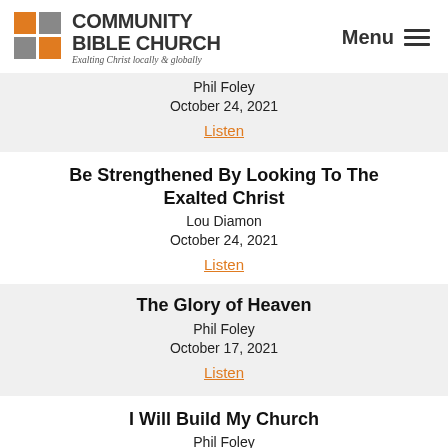COMMUNITY BIBLE CHURCH — Exalting Christ locally & globally — Menu
Phil Foley
October 24, 2021
Listen
Be Strengthened By Looking To The Exalted Christ
Lou Diamon
October 24, 2021
Listen
The Glory of Heaven
Phil Foley
October 17, 2021
Listen
I Will Build My Church
Phil Foley
October 17, 2021